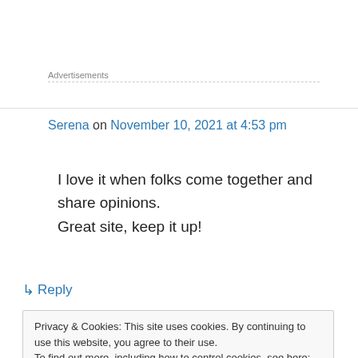Advertisements
Serena on November 10, 2021 at 4:53 pm
I love it when folks come together and share opinions.
Great site, keep it up!
↳ Reply
Privacy & Cookies: This site uses cookies. By continuing to use this website, you agree to their use.
To find out more, including how to control cookies, see here: Cookie Policy